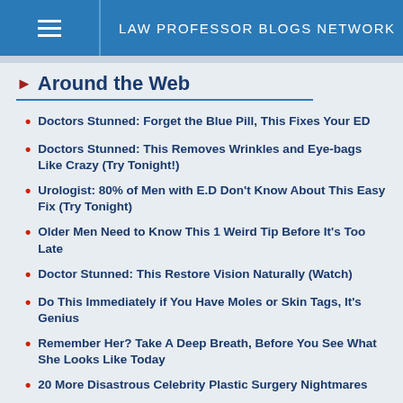LAW PROFESSOR BLOGS NETWORK
Around the Web
Doctors Stunned: Forget the Blue Pill, This Fixes Your ED
Doctors Stunned: This Removes Wrinkles and Eye-bags Like Crazy (Try Tonight!)
Urologist: 80% of Men with E.D Don't Know About This Easy Fix (Try Tonight)
Older Men Need to Know This 1 Weird Tip Before It's Too Late
Doctor Stunned: This Restore Vision Naturally (Watch)
Do This Immediately if You Have Moles or Skin Tags, It's Genius
Remember Her? Take A Deep Breath, Before You See What She Looks Like Today
20 More Disastrous Celebrity Plastic Surgery Nightmares